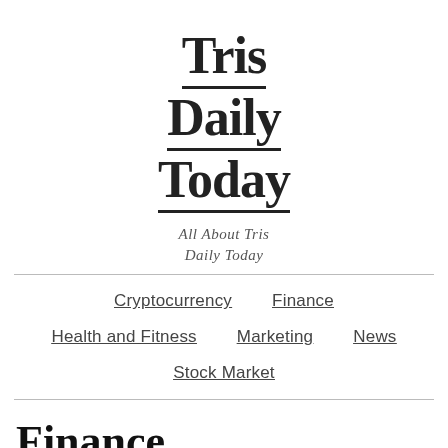[Figure (logo): Tris Daily Today logo with bold stacked serif text and italic subtitle 'All About Tris Daily Today']
Cryptocurrency | Finance | Health and Fitness | Marketing | News | Stock Market
Finance